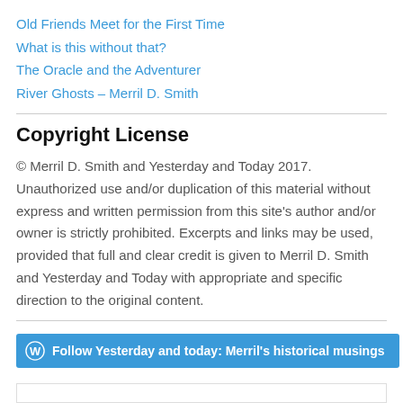Old Friends Meet for the First Time
What is this without that?
The Oracle and the Adventurer
River Ghosts – Merril D. Smith
Copyright License
© Merril D. Smith and Yesterday and Today 2017. Unauthorized use and/or duplication of this material without express and written permission from this site's author and/or owner is strictly prohibited. Excerpts and links may be used, provided that full and clear credit is given to Merril D. Smith and Yesterday and Today with appropriate and specific direction to the original content.
Follow Yesterday and today: Merril's historical musings